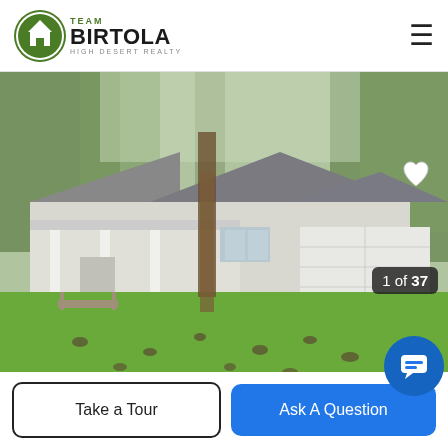Team Birtola High Desert Realty
[Figure (photo): Exterior photo of a single-story ranch-style home with white siding, covered front porch with columns, attached two-car garage, large front lawn, and tall trees in the background.]
1 of 37
Take a Tour
Ask A Question